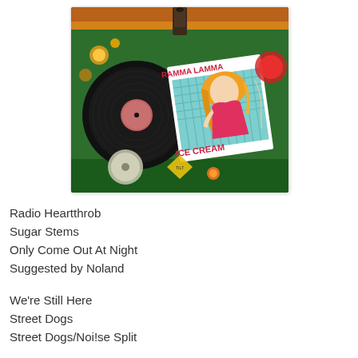[Figure (photo): A vinyl record and its album cover for 'Ramma Lamma Ice Cream' placed on a colorful pinball machine surface. The album cover features a cartoon illustration of a blonde woman with the text 'RAMMA LAMMA' at top and 'ICE CREAM' at bottom.]
Radio Heartthrob
Sugar Stems
Only Come Out At Night
Suggested by Noland
We're Still Here
Street Dogs
Street Dogs/Noi!se Split